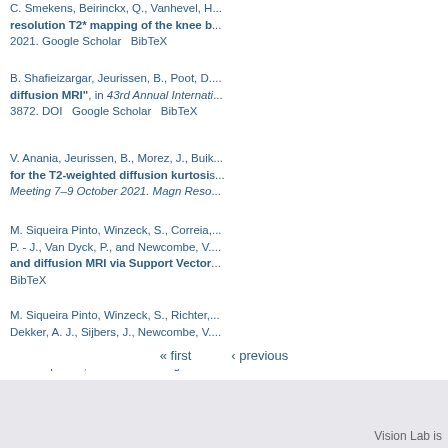C. Smekens, Beirinckx, Q., Vanhevel, H... resolution T2* mapping of the knee b... 2021. Google Scholar  BibTeX
B. Shafieizargar, Jeurissen, B., Poot, D.... diffusion MRI", in 43rd Annual Internati... 3872. DOI  Google Scholar  BibTeX
V. Anania, Jeurissen, B., Morez, J., Buik... for the T2-weighted diffusion kurtosis... Meeting 7–9 October 2021. Magn Reso...
M. Siqueira Pinto, Winzeck, S., Correia,... P. - J., Van Dyck, P., and Newcombe, V.... and diffusion MRI via Support Vector... BibTeX
M. Siqueira Pinto, Winzeck, S., Richter,... Dekker, A. J., Sijbers, J., Newcombe, V.... support vector machine based on lon... vol. 34. p. S54, 2021. DOI  Google Scho...
« first        ‹ previous
Vision Lab is